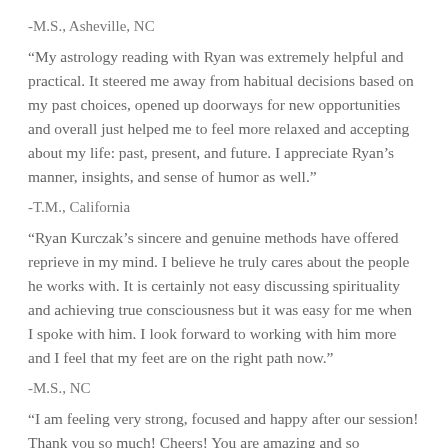-M.S., Asheville, NC
“My astrology reading with Ryan was extremely helpful and practical. It steered me away from habitual decisions based on my past choices, opened up doorways for new opportunities and overall just helped me to feel more relaxed and accepting about my life: past, present, and future. I appreciate Ryan’s manner, insights, and sense of humor as well.”
-T.M., California
“Ryan Kurczak’s sincere and genuine methods have offered reprieve in my mind. I believe he truly cares about the people he works with. It is certainly not easy discussing spirituality and achieving true consciousness but it was easy for me when I spoke with him. I look forward to working with him more and I feel that my feet are on the right path now.”
-M.S., NC
“I am feeling very strong, focused and happy after our session! Thank you so much!  Cheers! You are amazing and so